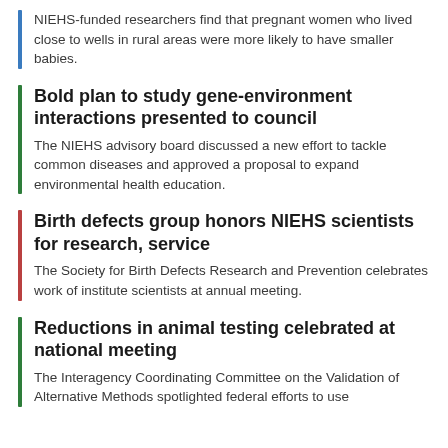NIEHS-funded researchers find that pregnant women who lived close to wells in rural areas were more likely to have smaller babies.
Bold plan to study gene-environment interactions presented to council
The NIEHS advisory board discussed a new effort to tackle common diseases and approved a proposal to expand environmental health education.
Birth defects group honors NIEHS scientists for research, service
The Society for Birth Defects Research and Prevention celebrates work of institute scientists at annual meeting.
Reductions in animal testing celebrated at national meeting
The Interagency Coordinating Committee on the Validation of Alternative Methods spotlighted federal efforts to use